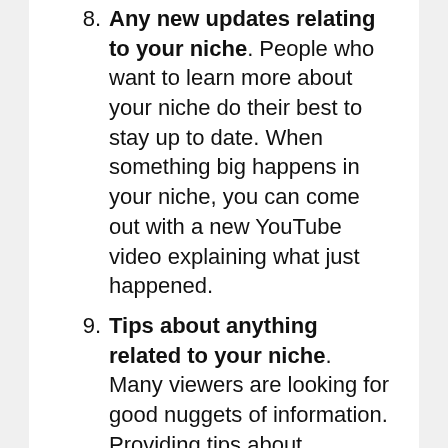8. Any new updates relating to your niche. People who want to learn more about your niche do their best to stay up to date. When something big happens in your niche, you can come out with a new YouTube video explaining what just happened.
9. Tips about anything related to your niche. Many viewers are looking for good nuggets of information. Providing tips about anything related to your niche gets the job done.
10. Core values. Whether these are the core values to living a happier life or getting more Twitter followers, talking about them and including “Core Values”